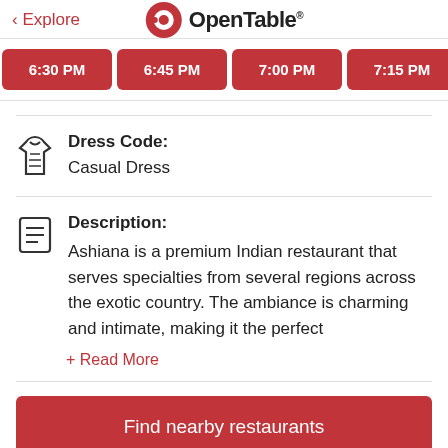< Explore   OpenTable
6:30 PM  6:45 PM  7:00 PM  7:15 PM  7:30 PM  7:…
Dress Code:
Casual Dress
Description:
Ashiana is a premium Indian restaurant that serves specialties from several regions across the exotic country. The ambiance is charming and intimate, making it the perfect
+ Read More
Find nearby restaurants